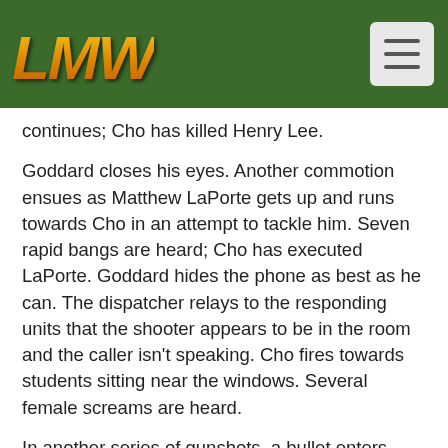LMW logo and navigation menu
continues; Cho has killed Henry Lee.
Goddard closes his eyes. Another commotion ensues as Matthew LaPorte gets up and runs towards Cho in an attempt to tackle him. Seven rapid bangs are heard; Cho has executed LaPorte. Goddard hides the phone as best as he can. The dispatcher relays to the responding units that the shooter appears to be in the room and the caller isn't speaking. Cho fires towards students sitting near the windows. Several female screams are heard.
In another series of gunshots, a bullet enters Goddard's leg, which shatters his femur. "I've been hit," he whispers frantically to the dispatcher.[2] He can be heard swearing profusely as the pain sets in. Another shot. There's a "scratching" noise as